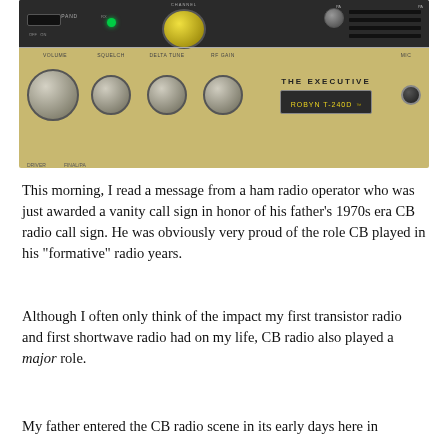[Figure (photo): Close-up photo of a Robyn T-240D 'The Executive' CB radio transceiver, showing the front panel with multiple knobs labeled Volume, Squelch, Delta Tune, RF Gain, a yellow channel dial, LED indicator, and ventilation slots on a gold/tan colored panel.]
This morning, I read a message from a ham radio operator who was just awarded a vanity call sign in honor of his father's 1970s era CB radio call sign. He was obviously very proud of the role CB played in his “formative” radio years.
Although I often only think of the impact my first transistor radio and first shortwave radio had on my life, CB radio also played a major role.
My father entered the CB radio scene in its early days here in the US. His FCC-issued call sign was KJD1166–it’s laser-etched in my memory from hearing him call it so many times when I was a kid.